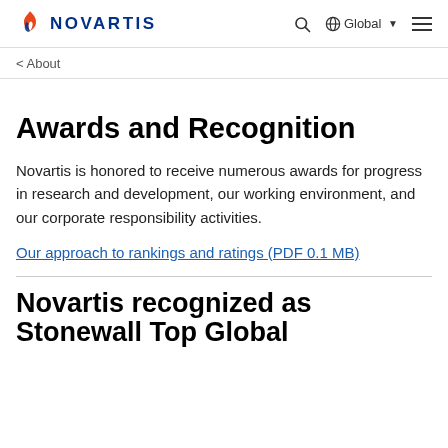NOVARTIS | Global
< About
Awards and Recognition
Novartis is honored to receive numerous awards for progress in research and development, our working environment, and our corporate responsibility activities.
Our approach to rankings and ratings (PDF 0.1 MB)
Novartis recognized as Stonewall Top Global